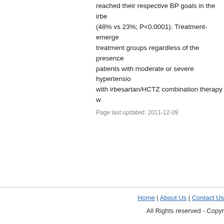reached their respective BP goals in the irbe (48% vs 23%; P<0.0001). Treatment-emerge treatment groups regardless of the presence patients with moderate or severe hypertensio with irbesartan/HCTZ combination therapy w
Page last updated: 2011-12-09
Home | About Us | Contact Us
All Rights reserved - Copyr